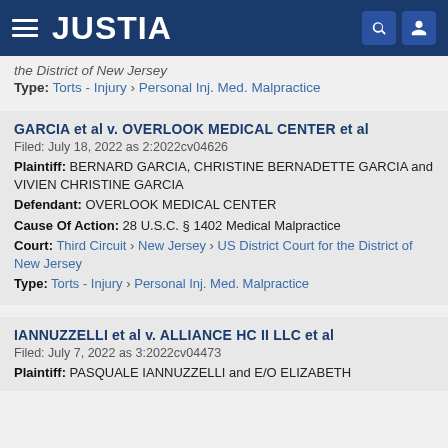JUSTIA
the District of New Jersey
Type: Torts - Injury › Personal Inj. Med. Malpractice
GARCIA et al v. OVERLOOK MEDICAL CENTER et al
Filed: July 18, 2022 as 2:2022cv04626
Plaintiff: BERNARD GARCIA, CHRISTINE BERNADETTE GARCIA and VIVIEN CHRISTINE GARCIA
Defendant: OVERLOOK MEDICAL CENTER
Cause Of Action: 28 U.S.C. § 1402 Medical Malpractice
Court: Third Circuit › New Jersey › US District Court for the District of New Jersey
Type: Torts - Injury › Personal Inj. Med. Malpractice
IANNUZZELLI et al v. ALLIANCE HC II LLC et al
Filed: July 7, 2022 as 3:2022cv04473
Plaintiff: PASQUALE IANNUZZELLI and E/O ELIZABETH